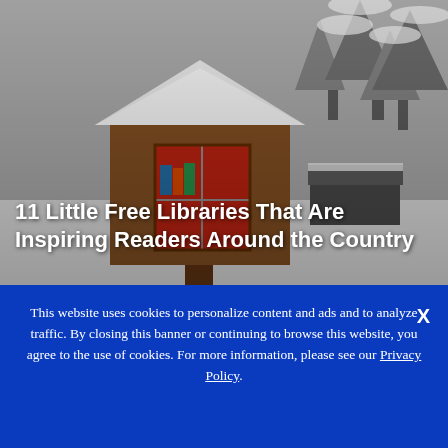[Figure (photo): A small Little Free Library box with a red door, made of wood with a triangular roof covered in snow, set outdoors in a snowy landscape with snow-covered pine trees in the background. The title text is overlaid on the lower portion of the image.]
11 Little Free Libraries That Are Inspiring Readers Around the Country
This website uses cookies to personalize content and ads and to analyze traffic. By closing this banner or continuing to browse this website, you agree to the use of cookies. For more information, please see our Privacy Policy.